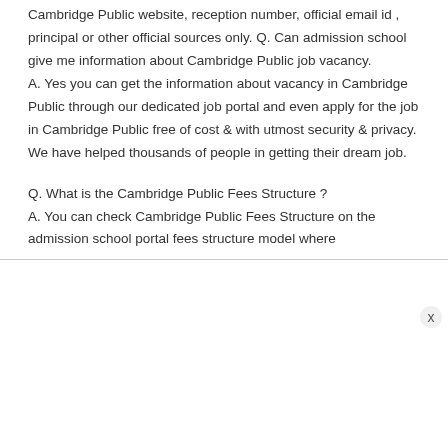Cambridge Public website, reception number, official email id , principal or other official sources only. Q. Can admission school give me information about Cambridge Public job vacancy.
A. Yes you can get the information about vacancy in Cambridge Public through our dedicated job portal and even apply for the job in Cambridge Public free of cost & with utmost security & privacy. We have helped thousands of people in getting their dream job.
Q. What is the Cambridge Public Fees Structure ?
A. You can check Cambridge Public Fees Structure on the admission school portal fees structure model where